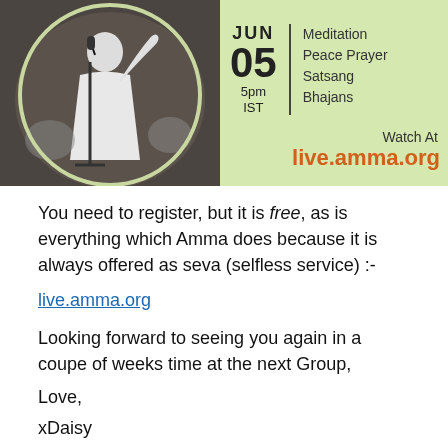[Figure (photo): Event banner with photo of a person in white clothing at a microphone on the left, and a light green background on the right showing event details: JUN 05, 5pm IST, Meditation Peace Prayer Satsang Bhajans, Watch At live.amma.org]
You need to register, but it is free, as is everything which Amma does because it is always offered as seva (selfless service) :-
live.amma.org
Looking forward to seeing you again in a coupe of weeks time at the next Group,
Love,
xDaisy